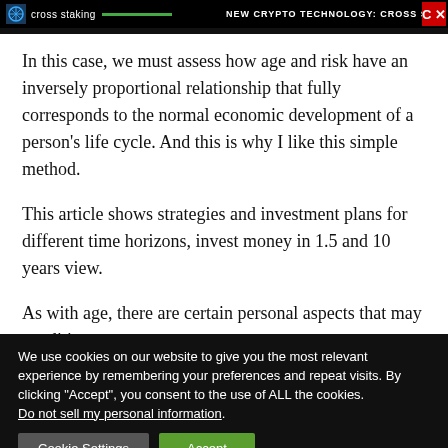cross staking | NEW CRYPTO TECHNOLOGY: CROSS STAKIN
In this case, we must assess how age and risk have an inversely proportional relationship that fully corresponds to the normal economic development of a person’s life cycle. And this is why I like this simple method.
This article shows strategies and investment plans for different time horizons, invest money in 1.5 and 10 years view.
As with age, there are certain personal aspects that may condition
We use cookies on our website to give you the most relevant experience by remembering your preferences and repeat visits. By clicking “Accept”, you consent to the use of ALL the cookies. Do not sell my personal information.